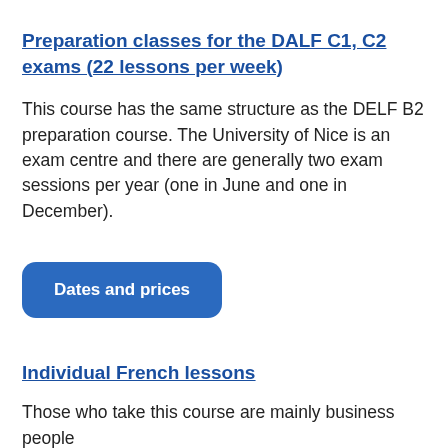Preparation classes for the DALF C1, C2 exams (22 lessons per week)
This course has the same structure as the DELF B2 preparation course. The University of Nice is an exam centre and there are generally two exam sessions per year (one in June and one in December).
Dates and prices
Individual French lessons
Those who take this course are mainly business people